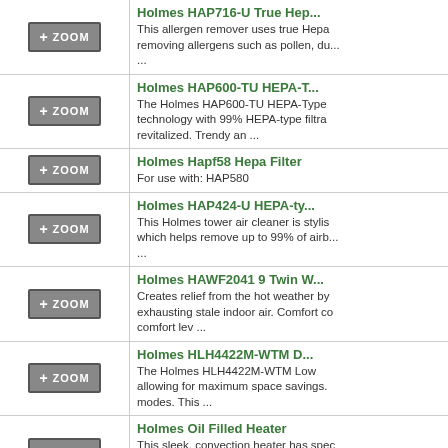Holmes HAP716-U True Hep... - This allergen remover uses true Hepa removing allergens such as pollen, du... ...
Holmes HAP600-TU HEPA-T... - The Holmes HAP600-TU HEPA-Type technology with 99% HEPA-type filtra revitalized. Trendy an ...
Holmes Hapf58 Hepa Filter - For use with: HAP580
Holmes HAP424-U HEPA-ty... - This Holmes tower air cleaner is stylis which helps remove up to 99% of airb... ...
Holmes HAWF2041 9 Twin W... - Creates relief from the hot weather by exhausting stale indoor air. Comfort co comfort lev ...
Holmes HLH4422M-WTM D... - The Holmes HLH4422M-WTM Low allowing for maximum space savings. modes. This ...
Holmes Oil Filled Heater - This sleek, convection heater has spec flow, yet have a low surface temperatu adjus ...
Holmes HASF2120 20 Power... - The Holmes HASF2120 Power Fan is of your home. An aerodynamic 20" po during the h ...
Holmes Hapf56 Hepa Filter - For use with: HAP560, HAP570, HAP...